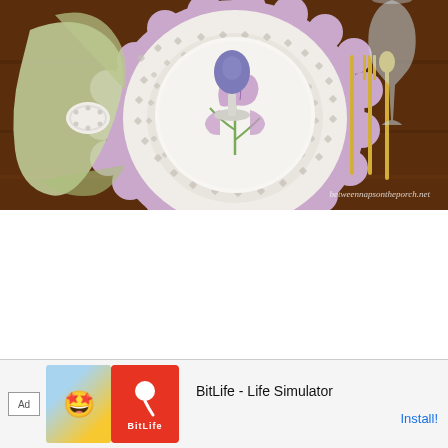[Figure (photo): Overhead view of an elegant table setting with a decorative white lattice plate charger on a purple scalloped placemat, a white plate with a painted purple iris flower, a purple decorative egg on a small pedestal in the center, gold cutlery on the right, a green organza napkin with a white decorative napkin ring on the left, and a glass in the upper right corner. Watermark text reads 'betweennapsontheporch.net'. Dark wood table surface visible.]
[Figure (screenshot): Advertisement banner for BitLife - Life Simulator app. Contains 'Ad' label, cartoon character image on yellow background, BitLife logo on red background with sperm icon, text 'BitLife - Life Simulator', and 'Install!' button link.]